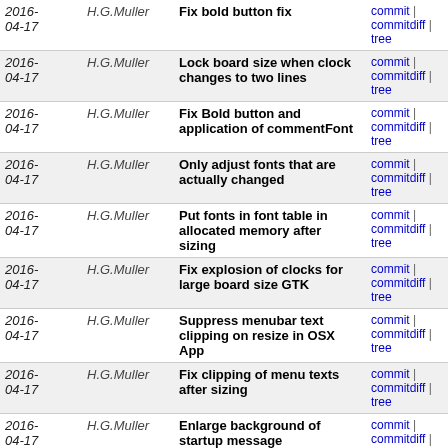| Date | Author | Commit message | Links |
| --- | --- | --- | --- |
| 2016-04-17 | H.G.Muller | Fix bold button fix | commit | commitdiff | tree |
| 2016-04-17 | H.G.Muller | Lock board size when clock changes to two lines | commit | commitdiff | tree |
| 2016-04-17 | H.G.Muller | Fix Bold button and application of commentFont | commit | commitdiff | tree |
| 2016-04-17 | H.G.Muller | Only adjust fonts that are actually changed | commit | commitdiff | tree |
| 2016-04-17 | H.G.Muller | Put fonts in font table in allocated memory after sizing | commit | commitdiff | tree |
| 2016-04-17 | H.G.Muller | Fix explosion of clocks for large board size GTK | commit | commitdiff | tree |
| 2016-04-17 | H.G.Muller | Suppress menubar text clipping on resize in OSX App | commit | commitdiff | tree |
| 2016-04-17 | H.G.Muller | Fix clipping of menu texts after sizing | commit | commitdiff | tree |
| 2016-04-17 | H.G.Muller | Enlarge background of startup message | commit | commitdiff | tree |
| 2016-04-17 | H.G.Muller | Adapt clock and message font after board-window sizing | commit | commitdiff | tree |
| 2016-04-17 | H.G.Muller | Prevent message text widening window GTK | commit | commitdiff | tree |
| 2016-04-17 | H.G.Muller | Pick -boardSize on window width rather than square... | commit | commitdiff | tree |
| 2016-04-17 | H.G.Muller | Adjust menu-text clipping to square size | commit | commitdiff | tree |
| 2016-04-17 | H.G.Muller | Make user-adjusted board size | commit | commitdiff | tree |